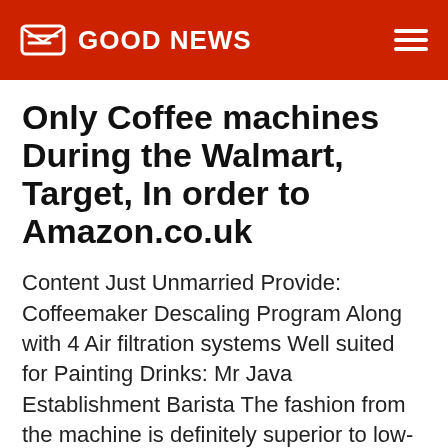GOOD NEWS
Only Coffee machines During the Walmart, Target, In order to Amazon.co.uk
Content Just Unmarried Provide: Coffeemaker Descaling Program Along with 4 Air filtration systems Well suited for Painting Drinks: Mr Java Establishment Barista The fashion from the machine is definitely superior to low-cost shape, however it's functional, as